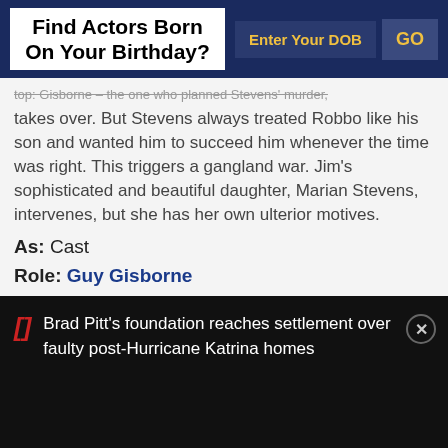Find Actors Born On Your Birthday?
top: Gisborne – the one who planned Stevens' murder, takes over. But Stevens always treated Robbo like his son and wanted him to succeed him whenever the time was right. This triggers a gangland war. Jim's sophisticated and beautiful daughter, Marian Stevens, intervenes, but she has her own ulterior motives.
As: Cast
Role: Guy Gisborne
Director: Gordon Douglas
Genres: Comedy, Crime, Musical
Brad Pitt's foundation reaches settlement over faulty post-Hurricane Katrina homes